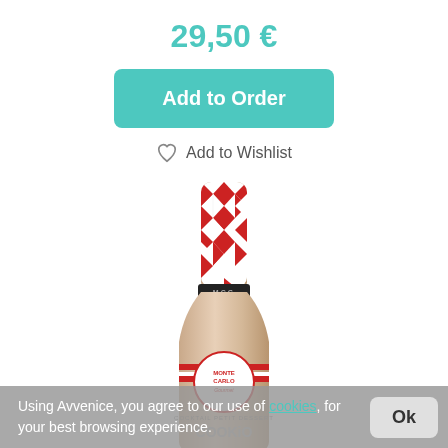29,50 €
Add to Order
Add to Wishlist
[Figure (photo): A bottle of Monte Carlo Gourmet Cocktail Petit Dessert Cookie liqueur. The bottle has a red and white diamond/checkered pattern on the neck, a black 'MCG' label band, a circular Monte Carlo Gourmet label with red stripe, and the text 'COCKTAIL PETIT DESSERT COOKIO' visible on the lower part of the bottle.]
Using Avvenice, you agree to our use of cookies, for your best browsing experience.